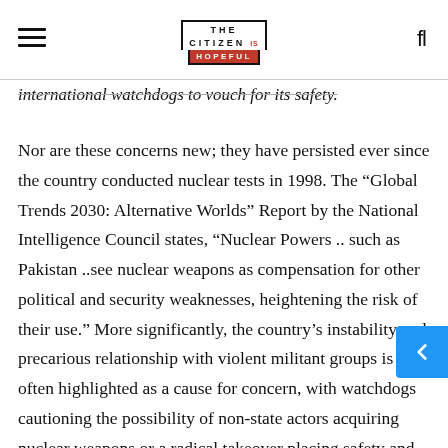THE CITIZEN IS HOPEFUL
international watchdogs to vouch for its safety.
Nor are these concerns new; they have persisted ever since the country conducted nuclear tests in 1998. The “Global Trends 2030: Alternative Worlds” Report by the National Intelligence Council states, “Nuclear Powers .. such as Pakistan ..see nuclear weapons as compensation for other political and security weaknesses, heightening the risk of their use.” More significantly, the country’s instability and precarious relationship with violent militant groups is often highlighted as a cause for concern, with watchdogs cautioning the possibility of non-state actors acquiring nuclear weapons or a radical takeover placing safety and security concerns at risk